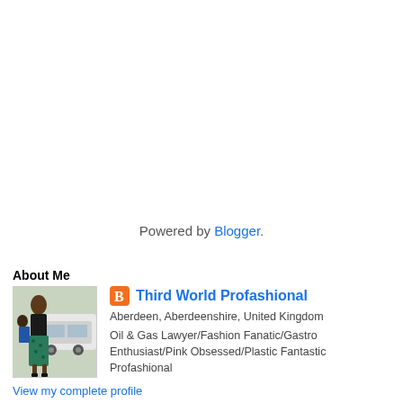Powered by Blogger.
About Me
[Figure (photo): Profile photo of a woman in a floral skirt standing near a white SUV outdoors]
Third World Profashional
Aberdeen, Aberdeenshire, United Kingdom
Oil & Gas Lawyer/Fashion Fanatic/Gastro Enthusiast/Pink Obsessed/Plastic Fantastic Profashional
View my complete profile